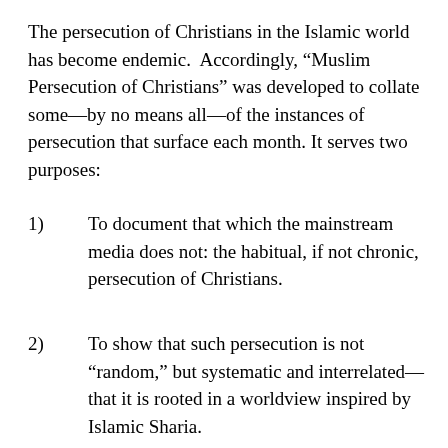The persecution of Christians in the Islamic world has become endemic. Accordingly, “Muslim Persecution of Christians” was developed to collate some—by no means all—of the instances of persecution that surface each month. It serves two purposes:
1) To document that which the mainstream media does not: the habitual, if not chronic, persecution of Christians.
2) To show that such persecution is not “random,” but systematic and interrelated—that it is rooted in a worldview inspired by Islamic Sharia.